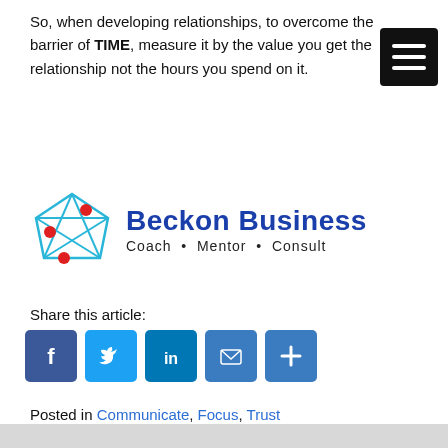So, when developing relationships, to overcome the barrier of TIME, measure it by the value you get the relationship not the hours you spend on it.
[Figure (logo): Beckon Business logo with geometric diamond shape in light blue with red nodes, and text 'Beckon Business Coach • Mentor • Consult' in dark blue]
Share this article:
[Figure (infographic): Social sharing icons: Facebook, Twitter, LinkedIn, Email, More]
Posted in Communicate, Focus, Trust